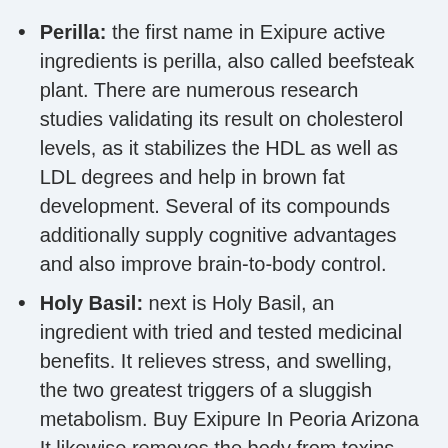Perilla: the first name in Exipure active ingredients is perilla, also called beefsteak plant. There are numerous research studies validating its result on cholesterol levels, as it stabilizes the HDL as well as LDL degrees and help in brown fat development. Several of its compounds additionally supply cognitive advantages and also improve brain-to-body control.
Holy Basil: next is Holy Basil, an ingredient with tried and tested medicinal benefits. It relieves stress, and swelling, the two greatest triggers of a sluggish metabolism. Buy Exipure In Peoria Arizona It likewise removes the body from toxins, waste materials, as well as cellular waste, keeping optimal metabolic conditions for the body.